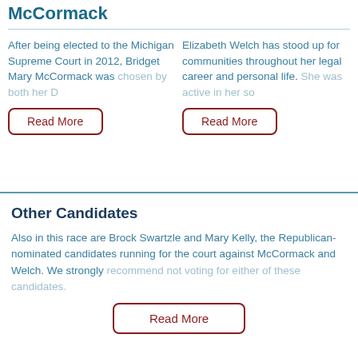McCormack
After being elected to the Michigan Supreme Court in 2012, Bridget Mary McCormack was chosen by both her D[emocratic]...
Elizabeth Welch has stood up for communities throughout her legal career and personal life. She was active in her so[cial]...
Other Candidates
Also in this race are Brock Swartzle and Mary Kelly, the Republican-nominated candidates running for the court against McCormack and Welch. We strongly recommend not voting for either of these candidates.